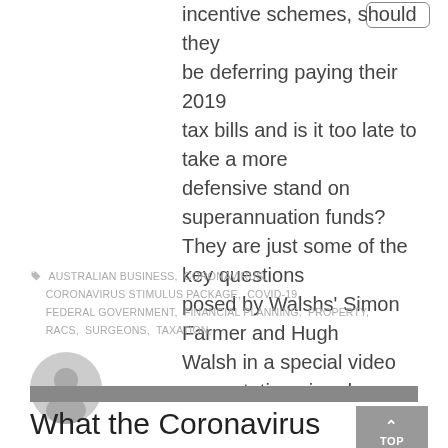incentive schemes, should they be deferring paying their 2019 tax bills and is it too late to take a more defensive stand on superannuation funds? They are just some of the key questions posed by Walshs' Simon Farmer and Hugh Walsh in a special video presentation aimed
AUSTRALIAN BUSINESS, CORONAVIRUS, CORONAVIRUS STIMULUS PACKAGE, COVID-19, FEDERAL GOVERNMENT, FINANCIAL PLANNING, PROPERTY, RACS, SURGEONS, TAXATION,
[Figure (illustration): Generic user avatar circle icon in grey]
What the Coronavirus